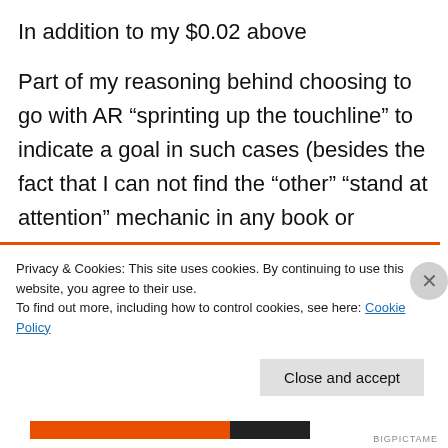In addition to my $0.02 above
Part of my reasoning behind choosing to go with AR “sprinting up the touchline” to indicate a goal in such cases (besides the fact that I can not find the “other” “stand at attention” mechanic in any book or advice) is that when you sprint up the line as AR, you remove yourself from the “Hot Zone” in the attacking third of the field
Privacy & Cookies: This site uses cookies. By continuing to use this website, you agree to their use.
To find out more, including how to control cookies, see here: Cookie Policy
Close and accept